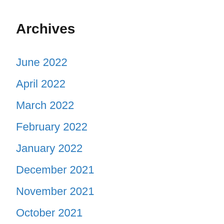Archives
June 2022
April 2022
March 2022
February 2022
January 2022
December 2021
November 2021
October 2021
September 2021
August 2021
July 2021